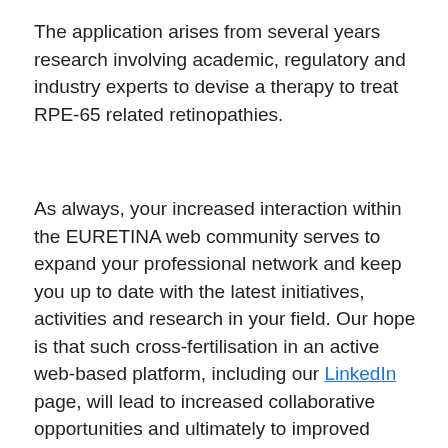The application arises from several years research involving academic, regulatory and industry experts to devise a therapy to treat RPE-65 related retinopathies.
As always, your increased interaction within the EURETINA web community serves to expand your professional network and keep you up to date with the latest initiatives, activities and research in your field. Our hope is that such cross-fertilisation in an active web-based platform, including our LinkedIn page, will lead to increased collaborative opportunities and ultimately to improved patient care. All readers are invited to submit comments or responses to any of the stories featured and we look forward to hearing from you over the coming month.